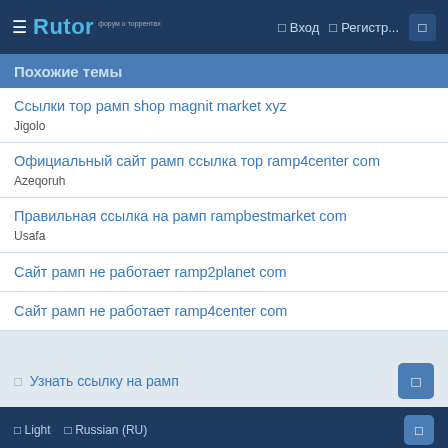☰ Rutor — Вход Регистр...
Похожие темы
Ссылки тор рамп shop magnit market xyz
Jigolo
Официальный сайт рамп ссылка тор ramp4center com
Azeqoruh
Правильная ссылка на рамп rampbestmarket com
Usafa
Сайт рамп не работает ramp2planet com
Сайт рамп не работает ramp4center com
☰ Узнать ссылку на рамп
☰ Light  ☰ Russian (RU)  Карта сайта  Помощь